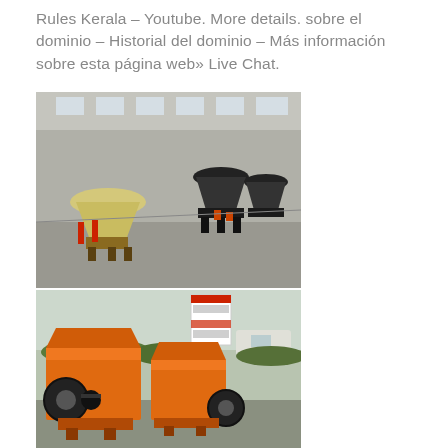Rules Kerala – Youtube. More details. sobre el dominio – Historial del dominio – Más información sobre esta página web» Live Chat.
[Figure (photo): Industrial warehouse interior showing multiple cone crusher machines. Left side has a beige/cream colored cone crusher, right side has black cone crushers. Concrete floor visible, building structure with windows in background.]
[Figure (photo): Two large orange hammer mill / crusher machines outdoors, with a red and white warning sign in the background, bushes and a white vehicle partially visible.]